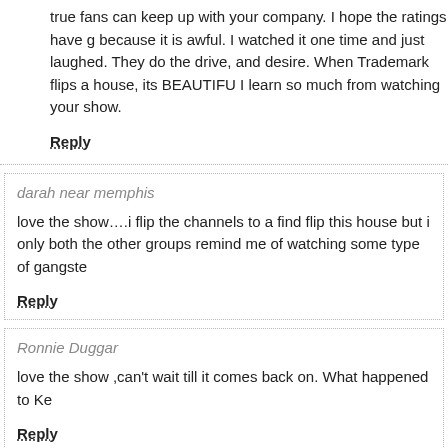true fans can keep up with your company. I hope the ratings have g because it is awful. I watched it one time and just laughed. They do the drive, and desire. When Trademark flips a house, its BEAUTIFU I learn so much from watching your show.
Reply
darah near memphis
love the show….i flip the channels to a find flip this house but i only both the other groups remind me of watching some type of gangste
Reply
Ronnie Duggar
love the show ,can't wait till it comes back on. What happened to Ke
Reply